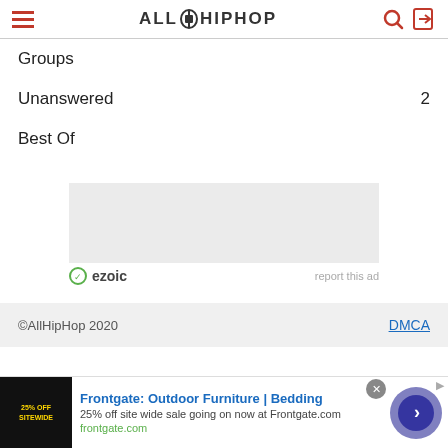ALLHIPHOP
Groups
Unanswered  2
Best Of
[Figure (other): Ezoic advertisement placeholder with gray background and 'report this ad' link]
©AllHipHop 2020   DMCA
[Figure (other): Bottom banner ad for Frontgate: Outdoor Furniture | Bedding. 25% off site wide sale going on now at Frontgate.com. frontgate.com]